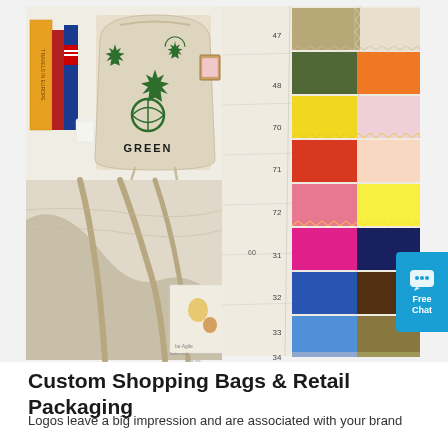[Figure (photo): Product collage showing: top-left a canvas drawstring bag with green leaf/marijuana prints and word GREEN on it, surrounded by books; bottom-left close-up of hands gathering the bottom of a canvas drawstring bag with rope drawstrings; right side a fabric swatch chart showing numbered color swatches (47,48,70,71,72,60,31,32,33,34) in various colors including green, yellow, orange, pink, magenta, navy, blue, brown. A cyan/teal Free Chat button overlay appears on the right edge.]
Custom Shopping Bags & Retail Packaging
Logos leave a big impression and are associated with your brand